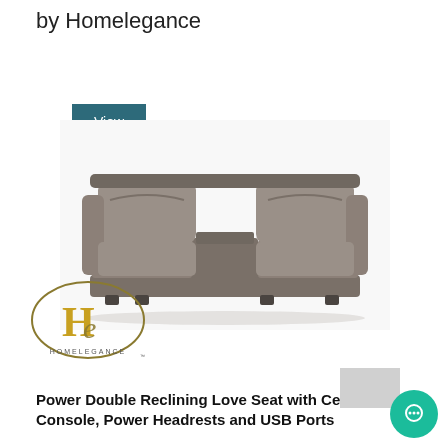by Homelegance
View All
[Figure (photo): Gray leather power double reclining loveseat with center console, shown from front angle]
[Figure (logo): Homelegance brand logo — gold H with cursive E inside an oval border, text HOMELEGANCE below]
Power Double Reclining Love Seat with Center Console, Power Headrests and USB Ports